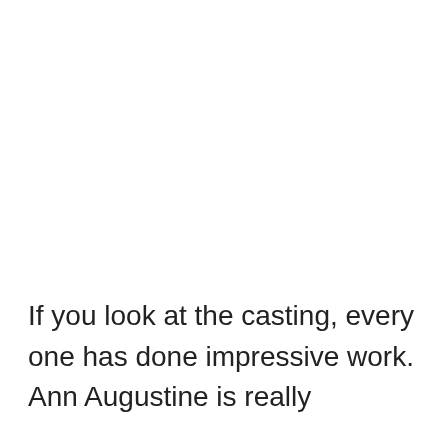If you look at the casting, every one has done impressive work. Ann Augustine is really